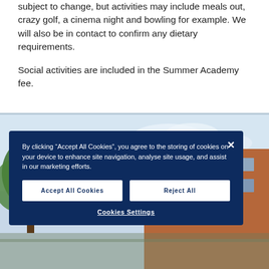subject to change, but activities may include meals out, crazy golf, a cinema night and bowling for example. We will also be in contact to confirm any dietary requirements.
Social activities are included in the Summer Academy fee.
[Figure (photo): Exterior photo of a brick university building with trees, pale blue sky background]
By clicking “Accept All Cookies”, you agree to the storing of cookies on your device to enhance site navigation, analyse site usage, and assist in our marketing efforts.
Accept All Cookies
Reject All
Cookies Settings